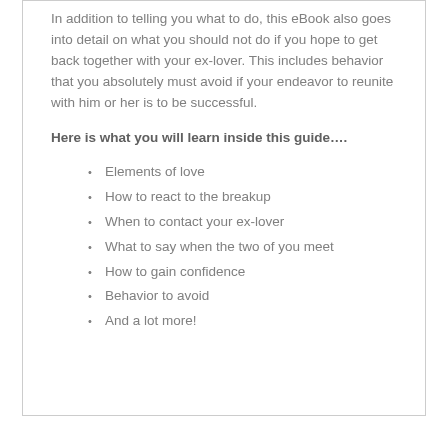In addition to telling you what to do, this eBook also goes into detail on what you should not do if you hope to get back together with your ex-lover. This includes behavior that you absolutely must avoid if your endeavor to reunite with him or her is to be successful.
Here is what you will learn inside this guide….
Elements of love
How to react to the breakup
When to contact your ex-lover
What to say when the two of you meet
How to gain confidence
Behavior to avoid
And a lot more!